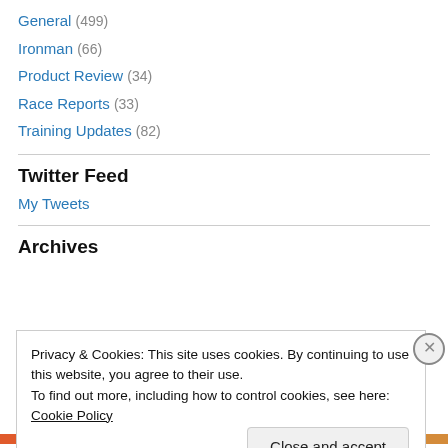General (499)
Ironman (66)
Product Review (34)
Race Reports (33)
Training Updates (82)
Twitter Feed
My Tweets
Archives
Privacy & Cookies: This site uses cookies. By continuing to use this website, you agree to their use.
To find out more, including how to control cookies, see here: Cookie Policy
Close and accept